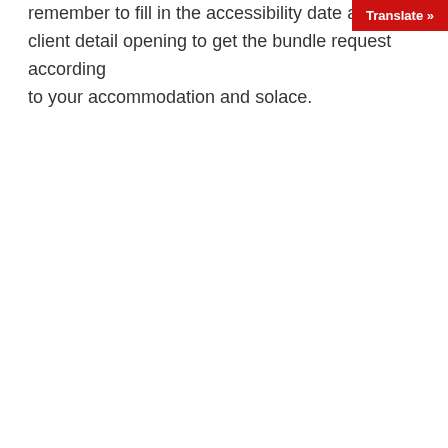remember to fill in the accessibility date and client detail opening to get the bundle request according to your accommodation and solace.
[Figure (screenshot): Red 'Translate »' button in the top-right corner of the page]